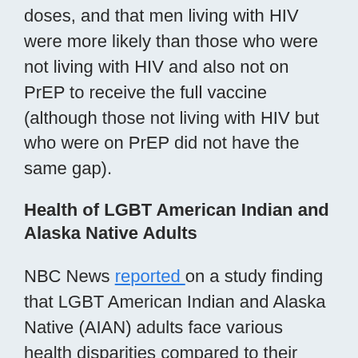doses, and that men living with HIV were more likely than those who were not living with HIV and also not on PrEP to receive the full vaccine (although those not living with HIV but who were on PrEP did not have the same gap).
Health of LGBT American Indian and Alaska Native Adults
NBC News reported on a study finding that LGBT American Indian and Alaska Native (AIAN) adults face various health disparities compared to their non-LGBT peers, as well as the US population at large. For example, 42% of LGBT AIAN adults have been diagnosed with depression compared to less than a quarter of non-LGBT AIAN adults and less than a quarter of the overall...